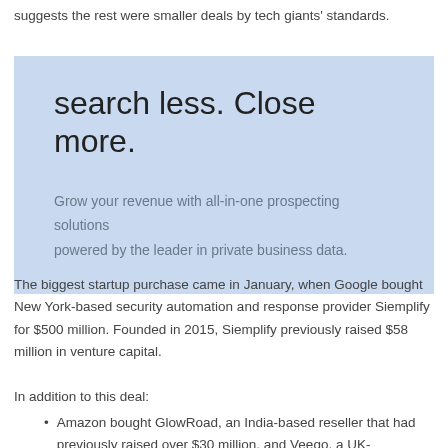suggests the rest were smaller deals by tech giants' standards.
[Figure (infographic): Light blue advertisement box with headline 'search less. Close more.' and subtext 'Grow your revenue with all-in-one prospecting solutions powered by the leader in private business data.']
The biggest startup purchase came in January, when Google bought New York-based security automation and response provider Siemplify for $500 million. Founded in 2015, Siemplify previously raised $58 million in venture capital.
In addition to this deal:
Amazon bought GlowRoad, an India-based reseller that had previously raised over $30 million, and Veego, a UK-